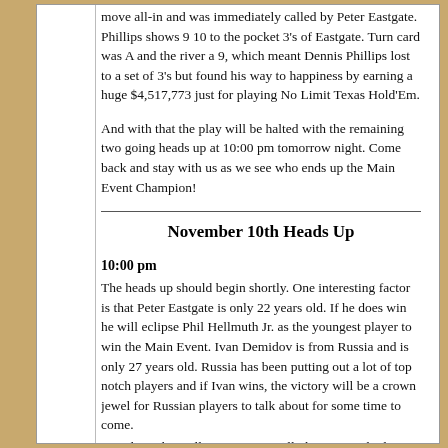move all-in and was immediately called by Peter Eastgate. Phillips shows 9 10 to the pocket 3's of Eastgate. Turn card was A and the river a 9, which meant Dennis Phillips lost to a set of 3's but found his way to happiness by earning a huge $4,517,773 just for playing No Limit Texas Hold'Em.
And with that the play will be halted with the remaining two going heads up at 10:00 pm tomorrow night. Come back and stay with us as we see who ends up the Main Event Champion!
November 10th Heads Up
10:00 pm
The heads up should begin shortly. One interesting factor is that Peter Eastgate is only 22 years old. If he does win he will eclipse Phil Hellmuth Jr. as the youngest player to win the Main Event. Ivan Demidov is from Russia and is only 27 years old. Russia has been putting out a lot of top notch players and if Ivan wins, the victory will be a crown jewel for Russian players to talk about for some time to come.
How long this will go? No one really knows. Both players have youth on their side, and as long as they didn't go out drinking in Las Vegas, they will be